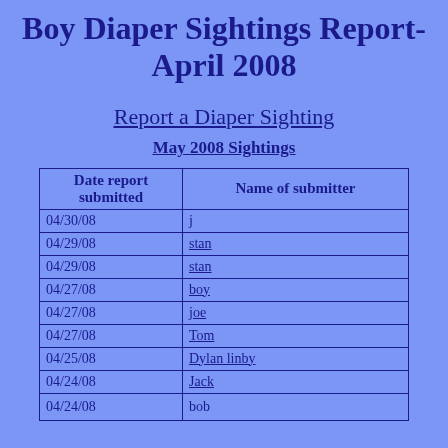Boy Diaper Sightings Report- April 2008
Report a Diaper Sighting
May 2008 Sightings
| Date report submitted | Name of submitter |
| --- | --- |
| 04/30/08 | j |
| 04/29/08 | stan |
| 04/29/08 | stan |
| 04/27/08 | boy |
| 04/27/08 | joe |
| 04/27/08 | Tom |
| 04/25/08 | Dylan linby |
| 04/24/08 | Jack |
| 04/24/08 | bob |